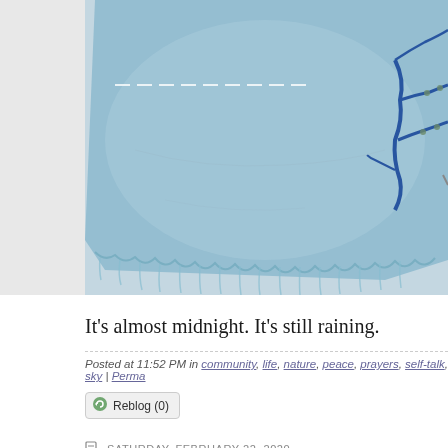[Figure (photo): Close-up photograph of a light blue fabric/textile with frayed edges and embroidery details including thread work and what appears to be floral or branch embroidery in darker colors]
It's almost midnight.  It's still raining.
Posted at 11:52 PM in community, life, nature, peace, prayers, self-talk, sky | Perma...
Reblog (0)
SATURDAY, FEBRUARY 22, 2020
"cultivating peace"